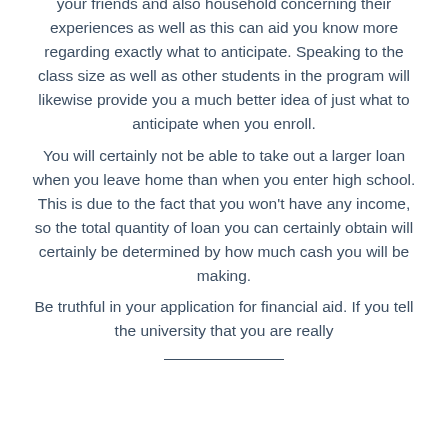your friends and also household concerning their experiences as well as this can aid you know more regarding exactly what to anticipate. Speaking to the class size as well as other students in the program will likewise provide you a much better idea of just what to anticipate when you enroll.
You will certainly not be able to take out a larger loan when you leave home than when you enter high school. This is due to the fact that you won't have any income, so the total quantity of loan you can certainly obtain will certainly be determined by how much cash you will be making.
Be truthful in your application for financial aid. If you tell the university that you are really